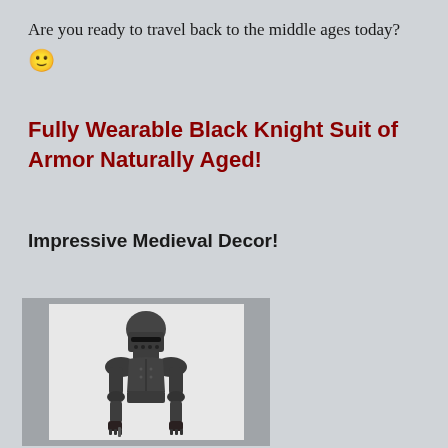Are you ready to travel back to the middle ages today? 🙂
Fully Wearable Black Knight Suit of Armor Naturally Aged!
Impressive Medieval Decor!
[Figure (photo): A full suit of black/dark metal knight armor, showing helmet with visor, shoulder plates, chest plate, arm guards, and gauntlets. The armor has a naturally aged, darkened appearance. Set against a white background, framed in a gray border.]